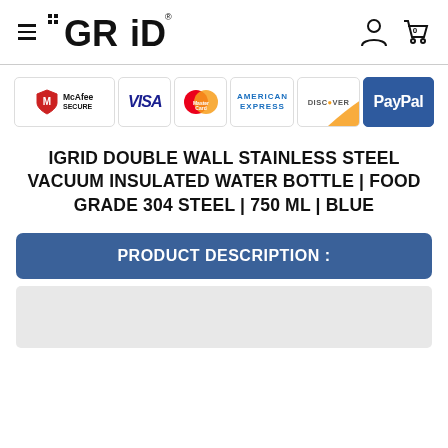iGRiD — navigation header with hamburger menu, logo, user icon, and cart (0)
[Figure (infographic): Payment security badges: McAfee SECURE, VISA, MasterCard, AMERICAN EXPRESS, DISCOVER, PayPal]
IGRID DOUBLE WALL STAINLESS STEEL VACUUM INSULATED WATER BOTTLE | FOOD GRADE 304 STEEL | 750 ML | BLUE
PRODUCT DESCRIPTION :